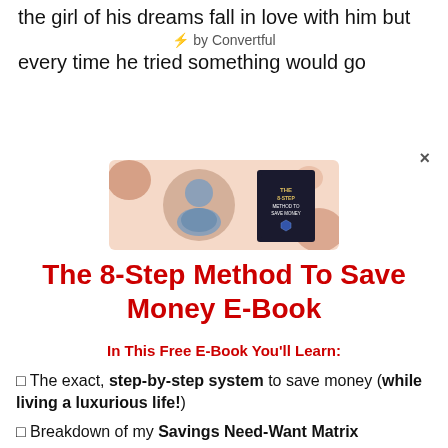the girl of his dreams fall in love with him but
⚡ by Convertful
every time he tried something would go
[Figure (photo): Promotional image for an e-book featuring a man in a light blue shirt and a book cover, on a peach/pink background with decorative shapes.]
The 8-Step Method To Save Money E-Book
In This Free E-Book You'll Learn:
✓ The exact, step-by-step system to save money (while living a luxurious life!)
✓ Breakdown of my Savings Need-Want Matrix
✓ How to create a quick monthly budget (my free budget template included)
✓ Simple Steps to build an emergency fund, a